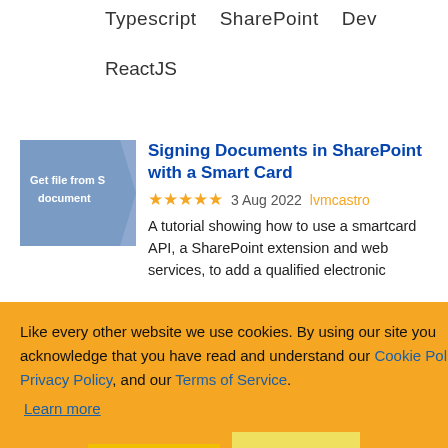Typescript   SharePoint   Dev
ReactJS
[Figure (screenshot): Thumbnail image showing SharePoint document workflow with text 'Get file from S... document']
Signing Documents in SharePoint with a Smart Card
★★★★★  3 Aug 2022  lvmcastro
A tutorial showing how to use a smartcard API, a SharePoint extension and web services, to add a qualified electronic ...le located in a
Like every other website we use cookies. By using our site you acknowledge that you have read and understand our Cookie Policy, Privacy Policy, and our Terms of Service.
Learn more
Ask me later   Decline   Allow cookies
Point   WCF
...ebpart
...red Danish Aftab
...opart
...nt